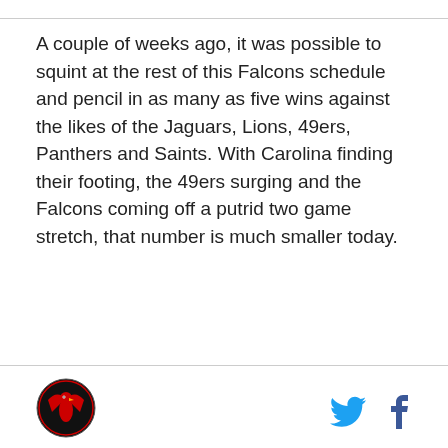A couple of weeks ago, it was possible to squint at the rest of this Falcons schedule and pencil in as many as five wins against the likes of the Jaguars, Lions, 49ers, Panthers and Saints. With Carolina finding their footing, the 49ers surging and the Falcons coming off a putrid two game stretch, that number is much smaller today.
[Figure (logo): Sports team logo — circular badge with red falcon and text border on black background]